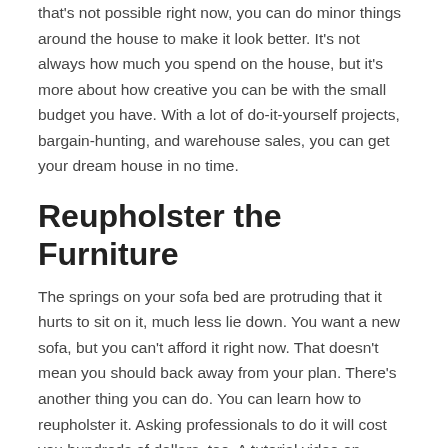that's not possible right now, you can do minor things around the house to make it look better. It's not always how much you spend on the house, but it's more about how creative you can be with the small budget you have. With a lot of do-it-yourself projects, bargain-hunting, and warehouse sales, you can get your dream house in no time.
Reupholster the Furniture
The springs on your sofa bed are protruding that it hurts to sit on it, much less lie down. You want a new sofa, but you can't afford it right now. That doesn't mean you should back away from your plan. There's another thing you can do. You can learn how to reupholster it. Asking professionals to do it will cost you hundreds of dollars, too. A tutorial video on YouTube can help you make an old sofa look new.
Bathroom Makeover